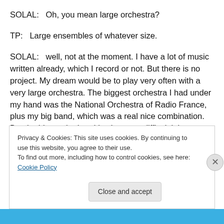SOLAL:   Oh, you mean large orchestra?
TP:   Large ensembles of whatever size.
SOLAL:   well, not at the moment. I have a lot of music written already, which I record or not. But there is no project. My dream would be to play very often with a very large orchestra. The biggest orchestra I had under my hand was the National Orchestra of Radio France, plus my big band, which was a real nice combination. But the bigger the band is, the more difficult it is to make the things together. When we have a trio already, it is difficult
Privacy & Cookies: This site uses cookies. By continuing to use this website, you agree to their use.
To find out more, including how to control cookies, see here: Cookie Policy
Close and accept